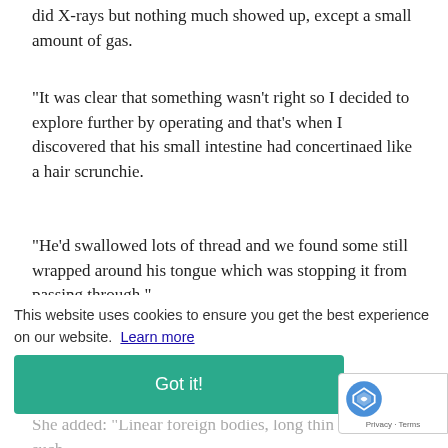did X-rays but nothing much showed up, except a small amount of gas.
“It was clear that something wasn’t right so I decided to explore further by operating and that’s when I discovered that his small intestine had concertinaed like a hair scrunchie.
“He’d swallowed lots of thread and we found some still wrapped around his tongue which was stopping it from passing through.”
Carole said the thread acted like the elastic inside a hair scrunchie which, thankfully was covered in so much fur that it stopped the cotton from having a “cheese wire effect” inside his guts.
She added: “Linear foreign bodies, long thin objects such